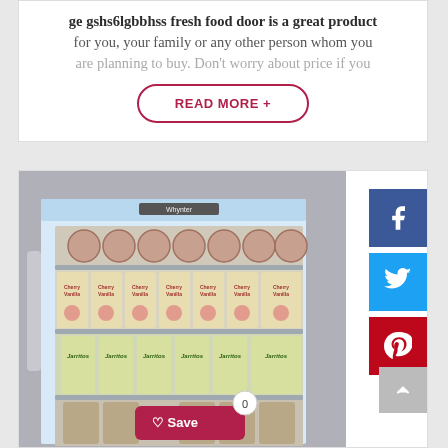ge gshs6lgbbhss fresh food door is a great product for you, your family or any other person whom you are planning to buy. Don't worry about price if you
READ MORE +
[Figure (photo): A Whynter brand glass-door beverage refrigerator fully stocked with cans of Cherry Vanilla and Jarritos drinks on multiple shelves, with a Save button overlay and social media share icons (Facebook, Twitter, Pinterest) on the right side.]